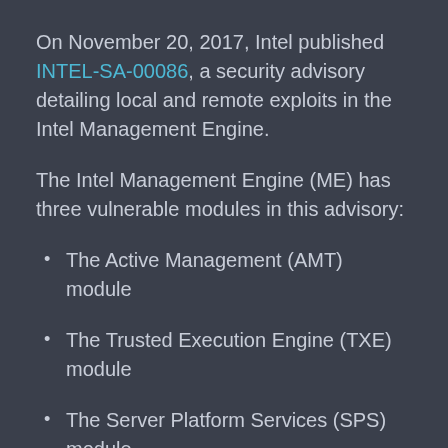On November 20, 2017, Intel published INTEL-SA-00086, a security advisory detailing local and remote exploits in the Intel Management Engine.
The Intel Management Engine (ME) has three vulnerable modules in this advisory:
The Active Management (AMT) module
The Trusted Execution Engine (TXE) module
The Server Platform Services (SPS) module
The only module of the three that can be